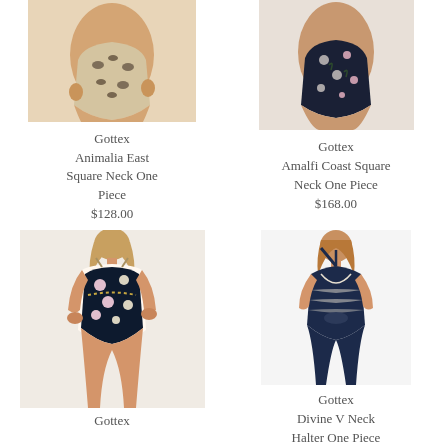[Figure (photo): Cropped photo showing lower torso of model wearing Gottex Animalia East leopard print square neck one piece swimsuit]
Gottex
Animalia East Square Neck One Piece
$128.00
[Figure (photo): Cropped photo showing lower torso of model wearing Gottex Amalfi Coast Square Neck One Piece swimsuit with floral print on dark background]
Gottex
Amalfi Coast Square Neck One Piece
$168.00
[Figure (photo): Full body photo of model wearing Gottex Amalfi Coast floral print one piece swimsuit with chain detail]
Gottex
[Figure (photo): Photo of model wearing Gottex Divine V Neck Halter One Piece swimsuit in navy with geometric stripe detail]
Gottex
Divine V Neck Halter One Piece